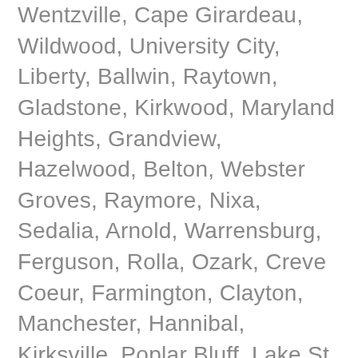Wentzville, Cape Girardeau, Wildwood, University City, Liberty, Ballwin, Raytown, Gladstone, Kirkwood, Maryland Heights, Grandview, Hazelwood, Belton, Webster Groves, Raymore, Nixa, Sedalia, Arnold, Warrensburg, Ferguson, Rolla, Ozark, Creve Coeur, Farmington, Clayton, Manchester, Hannibal, Kirksville, Poplar Bluff, Lake St. Louis, Republic, Sikeston, Overland, Jackson, Lebanon, Jennings, Carthage, Grain Valley, Dardenne Prairie, Washington, Moberly, Fulton, Marshall, St. Ann, Troy, West Plains, Neosho, Festus, Union, Crestwood, Maryville, Mexico, Excelsior Springs, Branson, Bridgeton, Webb City, Town and